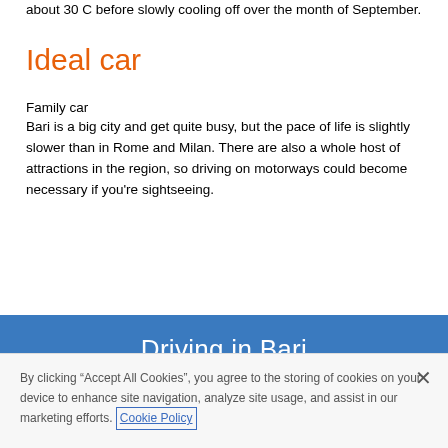about 30 C before slowly cooling off over the month of September.
Ideal car
Family car
Bari is a big city and get quite busy, but the pace of life is slightly slower than in Rome and Milan. There are also a whole host of attractions in the region, so driving on motorways could become necessary if you're sightseeing.
[Figure (other): Blue banner with white text reading 'Driving in Bari']
By clicking "Accept All Cookies", you agree to the storing of cookies on your device to enhance site navigation, analyze site usage, and assist in our marketing efforts. Cookie Policy